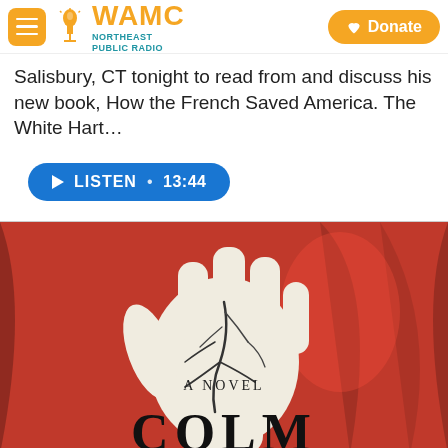WAMC NORTHEAST PUBLIC RADIO — Donate
Salisbury, CT tonight to read from and discuss his new book, How the French Saved America. The White Hart…
LISTEN • 13:44
[Figure (photo): Book cover showing a pale cracked hand with cracks in the palm against a red background, with text 'A NOVEL' on the palm and 'COLM' visible at the bottom]
WAMC — Midday Magazine